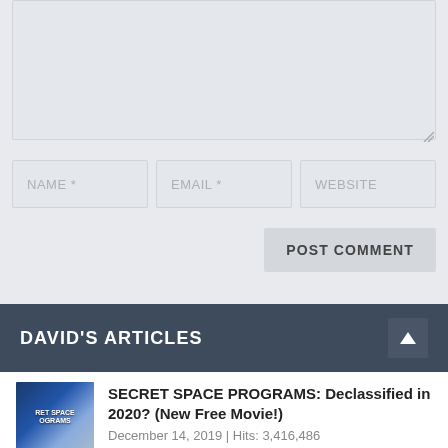[Figure (screenshot): Textarea input box for comment, partially visible at top of page, with resize handle at bottom-right corner]
NAME *
EMAIL *
WEBSITE
POST COMMENT
DAVID'S ARTICLES
SECRET SPACE PROGRAMS: Declassified in 2020? (New Free Movie!)
December 14, 2019 | Hits: 3,416,486
DECLAS, Disclosure and David's #1 New Ascension Film Incoming!